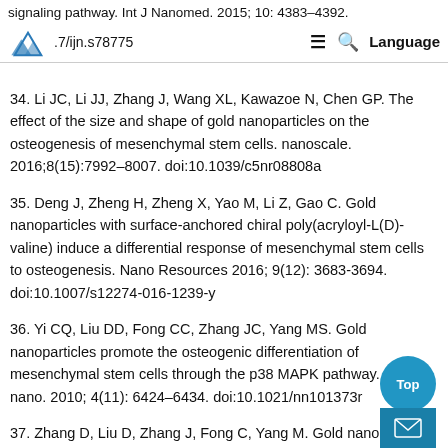signaling pathway. Int J Nanomed. 2015; 10: 4383–4392. .7/ijn.s78775  Language
34. Li JC, Li JJ, Zhang J, Wang XL, Kawazoe N, Chen GP. The effect of the size and shape of gold nanoparticles on the osteogenesis of mesenchymal stem cells. nanoscale. 2016;8(15):7992–8007. doi:10.1039/c5nr08808a
35. Deng J, Zheng H, Zheng X, Yao M, Li Z, Gao C. Gold nanoparticles with surface-anchored chiral poly(acryloyl-L(D)-valine) induce a differential response of mesenchymal stem cells to osteogenesis. Nano Resources 2016; 9(12): 3683-3694. doi:10.1007/s12274-016-1239-y
36. Yi CQ, Liu DD, Fong CC, Zhang JC, Yang MS. Gold nanoparticles promote the osteogenic differentiation of mesenchymal stem cells through the p38 MAPK pathway. Acs nano. 2010; 4(11): 6424–6434. doi:10.1021/nn101373r
37. Zhang D, Liu D, Zhang J, Fong C, Yang M. Gold nanoparticles…